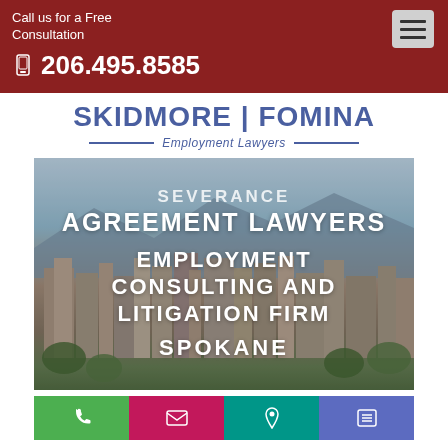Call us for a Free Consultation
206.495.8585
SKIDMORE | FOMINA
Employment Lawyers
[Figure (photo): Aerial photo of Spokane city skyline with mountains in background, overlaid with white bold text reading: SEVERANCE AGREEMENT LAWYERS EMPLOYMENT CONSULTING AND LITIGATION FIRM SPOKANE]
[Figure (infographic): Bottom navigation bar with four colored tiles: green phone icon, pink email/envelope icon, teal location pin icon, purple menu/list icon]